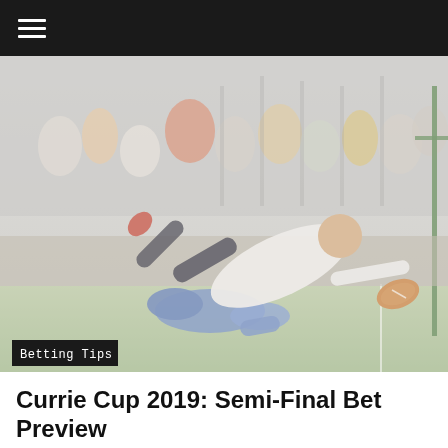≡ (hamburger menu)
[Figure (photo): Rugby player in white diving to score a try while being tackled by a player in blue, with spectators watching in the background. A 'Betting Tips' badge overlays the bottom-left of the image.]
Currie Cup 2019: Semi-Final Bet Preview
Xerox Golden Lions vs Tafel Lager Griquas Venue: Emirates Airline